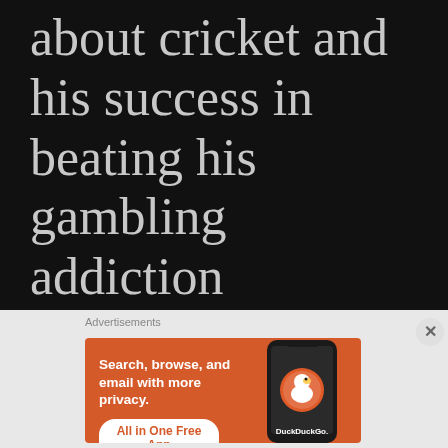about cricket and his success in beating his gambling addiction
Hampshire cricketer Chris Wood has been involved in the county scene for over a decade. Recently he took the tough decision to explain to the world about his addiction to gambling.
Advertisements
[Figure (illustration): DuckDuckGo advertisement banner on orange background. Text: 'Search, browse, and email with more privacy.' with button 'All in One Free App' and DuckDuckGo logo/duck icon on a phone graphic.]